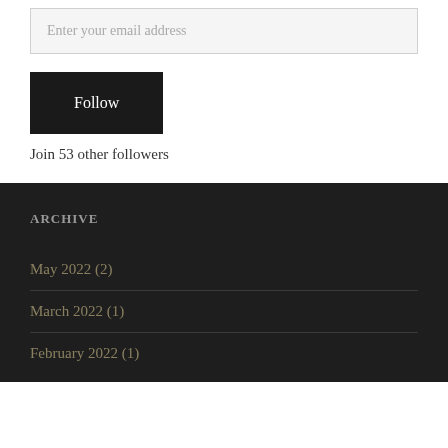Enter your email address
Follow
Join 53 other followers
ARCHIVE
May 2022 (2)
March 2022 (1)
February 2022 (1)